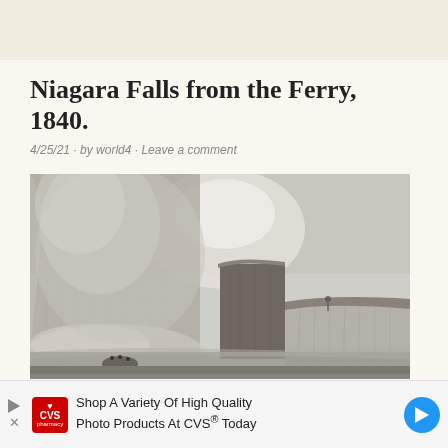Niagara Falls from the Ferry, 1840.
4/25/21 · by world4 · Leave a comment
[Figure (illustration): Black and white engraving of Niagara Falls from the Ferry, 1840. Shows massive waterfall on left with mist, a rocky outcrop in the center, and a smaller waterfall on the right. Figures visible at bottom left.]
Shop A Variety Of High Quality Photo Products At CVS® Today